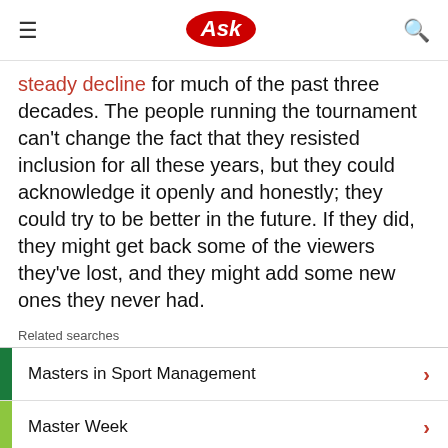Ask
steady decline for much of the past three decades. The people running the tournament can't change the fact that they resisted inclusion for all these years, but they could acknowledge it openly and honestly; they could try to be better in the future. If they did, they might get back some of the viewers they've lost, and they might add some new ones they never had.
Related searches
Masters in Sport Management
Master Week
One Year Online Masters